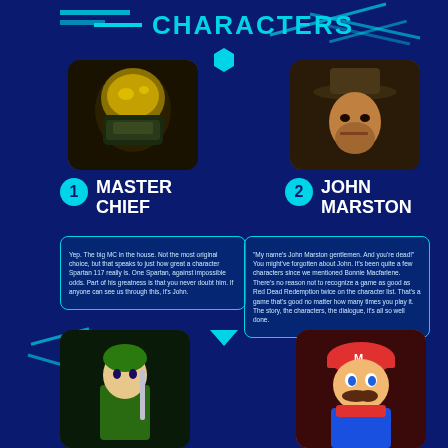CHARACTERS
[Figure (illustration): Master Chief from Halo, golden helmet, armored spartan]
[Figure (illustration): John Marston from Red Dead Redemption, cowboy hat]
1 MASTER CHIEF
2 JOHN MARSTON
Yep. The big MC in the house. Not the most original choice, but that speaks to just how great a character Spartan 117 really is. One Spartan, against impossible odds. Part of his greatness is that you never doubt him. If anyone can see us through this, it's John.
"My name's John Marston gentlemen. And you're dead!" You might've forgotten about John. It's been quite a few characters since we mentioned Bonnie Macfarlene. There's no reason not to recognize a game as good as Red Dead Redemption twice on the character list. That's a game that's good no matter how many times you play it. The story, the characters, the dialogue, it's all so well done.
[Figure (illustration): Link from The Legend of Zelda, green tunic, elf character]
[Figure (illustration): Mario from Nintendo, red hat with M, blue overalls]